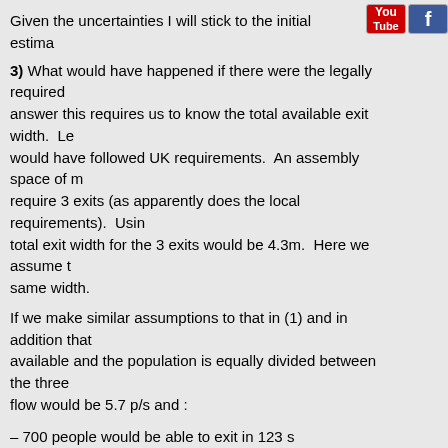Given the uncertainties I will stick to the initial estima…
3) What would have happened if there were the legally required… answer this requires us to know the total available exit width. Le… would have followed UK requirements. An assembly space of m… require 3 exits (as apparently does the local requirements). Usin… total exit width for the 3 exits would be 4.3m. Here we assume t… same width.
If we make similar assumptions to that in (1) and in addition that… available and the population is equally divided between the three… flow would be 5.7 p/s and :
– 700 people would be able to exit in 123 s
– 835 people would be able to exit in 147 s
– 1200 people would be able to exit in 211 s
Assuming the same amount of time is available for safe egress i…
– all 700 people would be able to safely evacuate, i.e. the legal c…